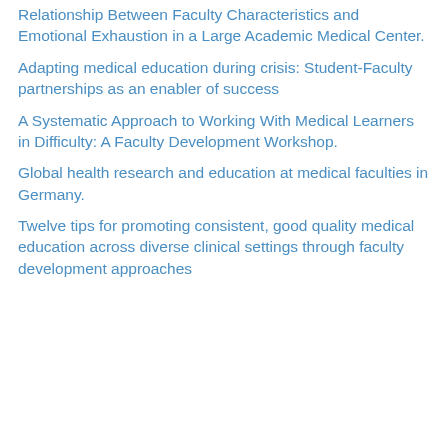Relationship Between Faculty Characteristics and Emotional Exhaustion in a Large Academic Medical Center.
Adapting medical education during crisis: Student-Faculty partnerships as an enabler of success
A Systematic Approach to Working With Medical Learners in Difficulty: A Faculty Development Workshop.
Global health research and education at medical faculties in Germany.
Twelve tips for promoting consistent, good quality medical education across diverse clinical settings through faculty development approaches